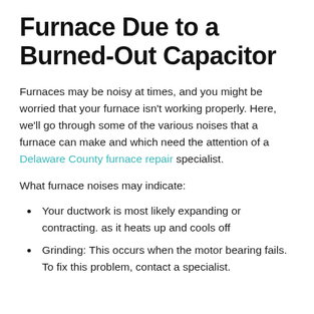Furnace Due to a Burned-Out Capacitor
Furnaces may be noisy at times, and you might be worried that your furnace isn't working properly. Here, we'll go through some of the various noises that a furnace can make and which need the attention of a Delaware County furnace repair specialist.
What furnace noises may indicate:
Your ductwork is most likely expanding or contracting. as it heats up and cools off
Grinding: This occurs when the motor bearing fails. To fix this problem, contact a specialist.